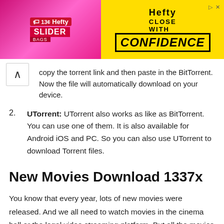[Figure (other): Hefty Slider Bags advertisement banner with pink/yellow gradient background. Shows Hefty logo, Slider Bags product, and text 'Hefty Close With Confidence'.]
copy the torrent link and then paste in the BitTorrent. Now the file will automatically download on your device.
UTorrent: UTorrent also works as like as BitTorrent. You can use one of them. It is also available for Android iOS and PC. So you can also use UTorrent to download Torrent files.
New Movies Download 1337x
You know that every year, lots of new movies were released. And we all need to watch movies in the cinema hall or the legal video streaming platform. But all the movies copied and leaked by the torrent site.